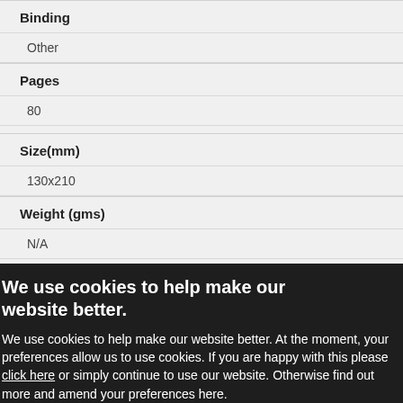Binding
Other
Pages
80
Size(mm)
130x210
Weight (gms)
N/A
ESB Code
We use cookies to help make our website better.
We use cookies to help make our website better. At the moment, your preferences allow us to use cookies. If you are happy with this please click here or simply continue to use our website. Otherwise find out more and amend your preferences here.